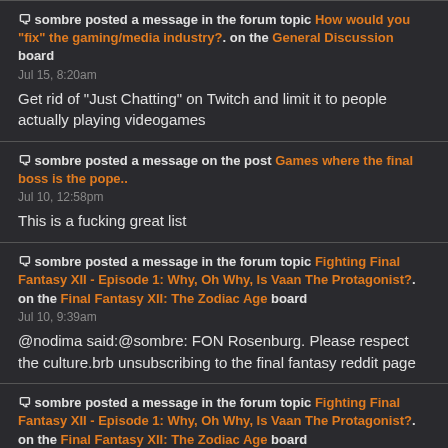🗨 sombre posted a message in the forum topic How would you "fix" the gaming/media industry?. on the General Discussion board
Jul 15, 8:20am
Get rid of "Just Chatting" on Twitch and limit it to people actually playing videogames
🗨 sombre posted a message on the post Games where the final boss is the pope..
Jul 10, 12:58pm
This is a fucking great list
🗨 sombre posted a message in the forum topic Fighting Final Fantasy XII - Episode 1: Why, Oh Why, Is Vaan The Protagonist?. on the Final Fantasy XII: The Zodiac Age board
Jul 10, 9:39am
@nodima said:@sombre: FON Rosenburg. Please respect the culture.brb unsubscribing to the final fantasy reddit page
🗨 sombre posted a message in the forum topic Fighting Final Fantasy XII - Episode 1: Why, Oh Why, Is Vaan The Protagonist?. on the Final Fantasy XII: The Zodiac Age board